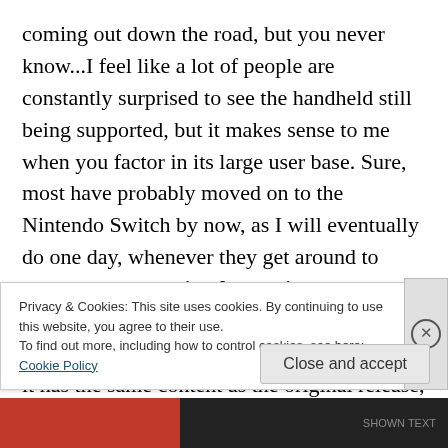coming out down the road, but you never know...I feel like a lot of people are constantly surprised to see the handheld still being supported, but it makes sense to me when you factor in its large user base. Sure, most have probably moved on to the Nintendo Switch by now, as I will eventually do one day, whenever they get around to announcing an Animal Crossing-themed bundle. Anyways, it's an enhanced remake of Kirby's Epic Yarn for the Wii, which means it has the same content as the original release, but also includes new power-ups, modes, and sub-games starring Meta Knight and King Dedede as
Privacy & Cookies: This site uses cookies. By continuing to use this website, you agree to their use.
To find out more, including how to control cookies, see here: Cookie Policy
Close and accept